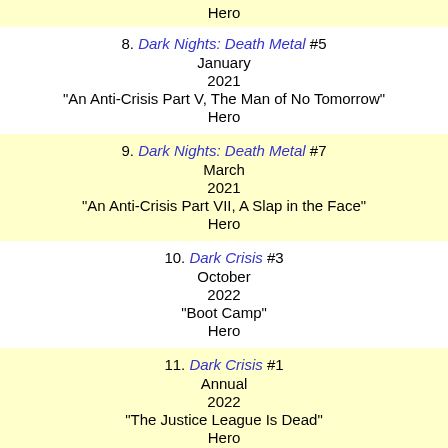Hero
8. Dark Nights: Death Metal #5 | January | 2021 | "An Anti-Crisis Part V, The Man of No Tomorrow" | Hero
9. Dark Nights: Death Metal #7 | March | 2021 | "An Anti-Crisis Part VII, A Slap in the Face" | Hero
10. Dark Crisis #3 | October | 2022 | "Boot Camp" | Hero
11. Dark Crisis #1 | Annual | 2022 | "The Justice League Is Dead" | Hero